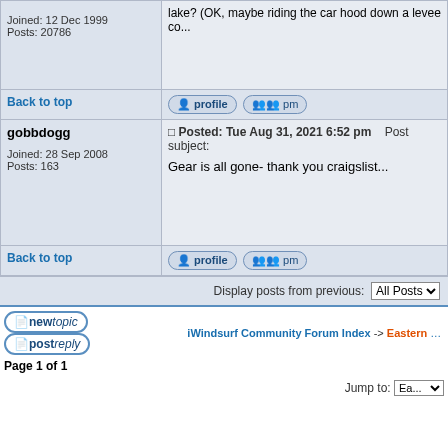Joined: 12 Dec 1999
Posts: 20786
lake? (OK, maybe riding the car hood down a levee co...
Back to top
gobbdogg
Joined: 28 Sep 2008
Posts: 163
Posted: Tue Aug 31, 2021 6:52 pm   Post subject:
Gear is all gone- thank you craigslist...
Back to top
Display posts from previous: All Posts
iWindsurf Community Forum Index -> Eastern and...
Page 1 of 1
Jump to: Ea...
myiW | Weather | Community | Membership | Support | Log in
© Copyright 1999-2007 WeatherFlow, Inc Contact Us Privacy Policy Terms and Conditions Disc...
Powered by phpBB © 2001, 200...